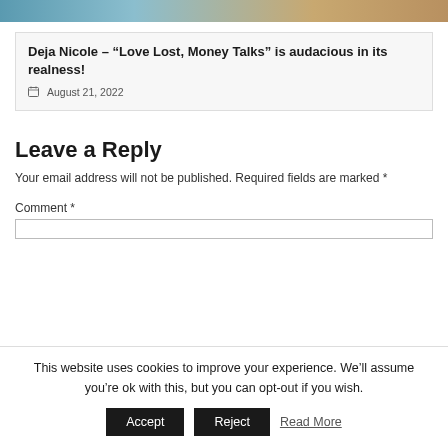[Figure (photo): Top portion of an image, partially cropped, showing blue/teal tones suggesting an outdoor or water scene]
Deja Nicole – "Love Lost, Money Talks" is audacious in its realness!
August 21, 2022
Leave a Reply
Your email address will not be published. Required fields are marked *
Comment *
This website uses cookies to improve your experience. We'll assume you're ok with this, but you can opt-out if you wish.
Accept   Reject   Read More